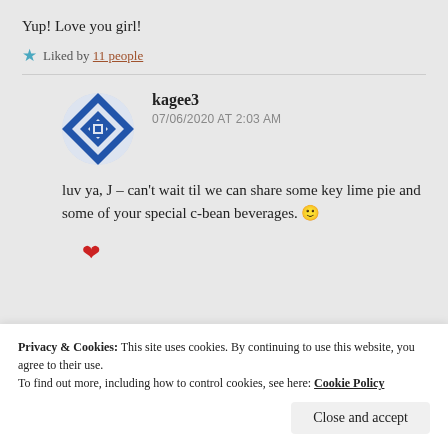Yup! Love you girl!
Liked by 11 people
kagee3
07/06/2020 AT 2:03 AM
luv ya, J – can't wait til we can share some key lime pie and some of your special c-bean beverages. 🙂
Privacy & Cookies: This site uses cookies. By continuing to use this website, you agree to their use. To find out more, including how to control cookies, see here: Cookie Policy
Close and accept